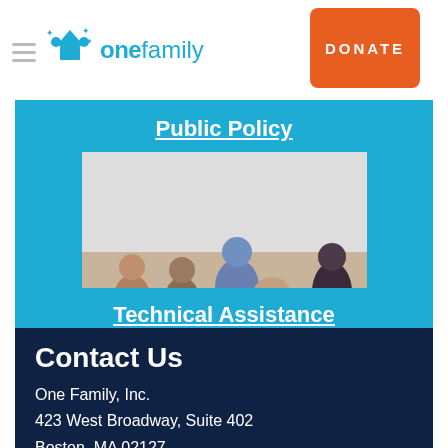one family | DONATE
Public Policy
[Figure (photo): People sitting around a long table at a meeting or workshop, engaged in discussion with notebooks and papers in front of them.]
Technical Assistance
Contact Us
One Family, Inc.
423 West Broadway, Suite 402
Boston, MA 02127